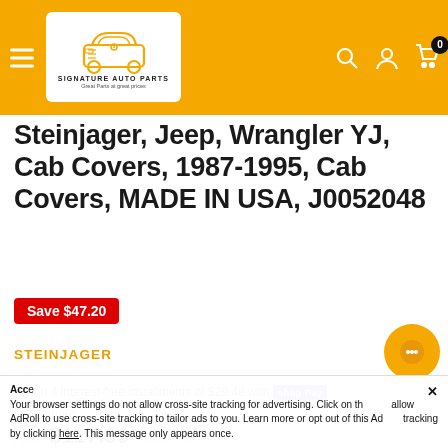[Figure (logo): Signature Auto Parts logo with car icon and tagline 'Great Parts at great prices']
Steinjager, Jeep, Wrangler YJ, Cab Covers, 1987-1995, Cab Covers, MADE IN USA, J0052048
Save $47.20
STEINJAGER
Pay in 4 interest-free installments of $29.49 with shop Pay
Learn more
Price $117.99 $165.19
Acc e x Your browser settings do not allow cross-site tracking for advertising. Click on the link to allow AdRoll to use cross-site tracking to tailor ads to you. Learn more or opt out of this AdRoll tracking by clicking here. This message only appears once.